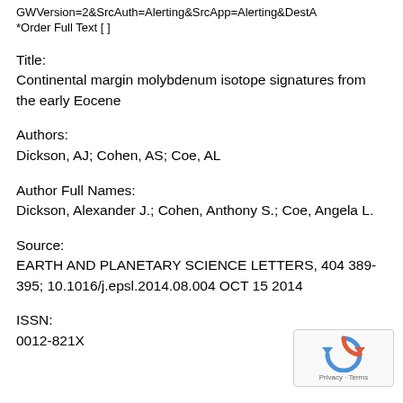GWVersion=2&SrcAuth=Alerting&SrcApp=Alerting&DestA
*Order Full Text [ ]
Title:
Continental margin molybdenum isotope signatures from the early Eocene
Authors:
Dickson, AJ; Cohen, AS; Coe, AL
Author Full Names:
Dickson, Alexander J.; Cohen, Anthony S.; Coe, Angela L.
Source:
EARTH AND PLANETARY SCIENCE LETTERS, 404 389-395; 10.1016/j.epsl.2014.08.004 OCT 15 2014
ISSN:
0012-821X
[Figure (logo): reCAPTCHA logo with Privacy - Terms text]